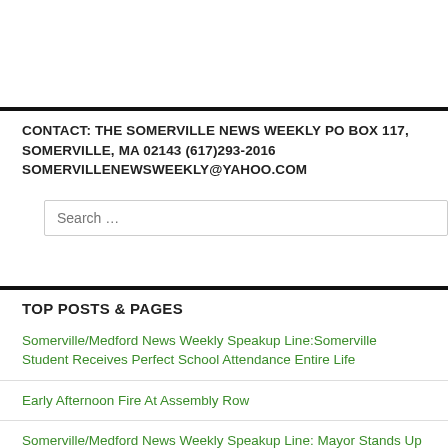CONTACT: THE SOMERVILLE NEWS WEEKLY PO BOX 117, SOMERVILLE, MA 02143 (617)293-2016 SOMERVILLENEWSWEEKLY@YAHOO.COM
TOP POSTS & PAGES
Somerville/Medford News Weekly Speakup Line:Somerville Student Receives Perfect School Attendance Entire Life
Early Afternoon Fire At Assembly Row
Somerville/Medford News Weekly Speakup Line: Mayor Stands Up